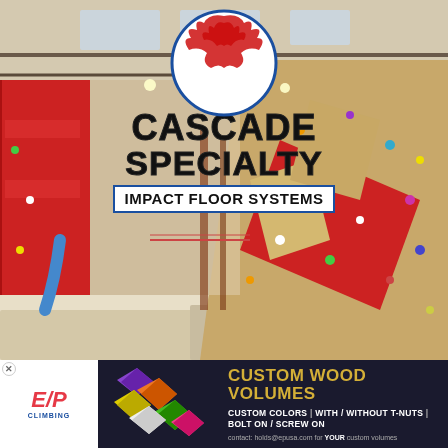[Figure (photo): Interior of a climbing gym showing bouldering walls with colorful holds, red accent panels, wooden climbing volumes, skylights, and an open warehouse-style ceiling]
CASCADE SPECIALTY
IMPACT FLOOR SYSTEMS
[Figure (logo): EP Climbing logo with red E/P letters and red splash graphic]
[Figure (illustration): Colorful diamond/rhombus shapes in purple, orange, yellow, green, and white representing custom wood volumes]
CUSTOM WOOD VOLUMES
CUSTOM COLORS | WITH / WITHOUT T-NUTS | BOLT ON / SCREW ON
contact: holds@epusa.com for YOUR custom volumes